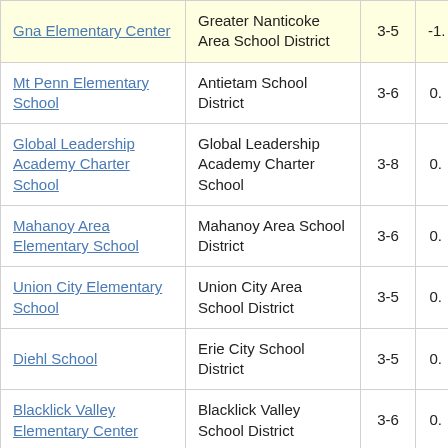| School | District | Grades | Score |
| --- | --- | --- | --- |
| Gna Elementary Center | Greater Nanticoke Area School District | 3-5 | -1. |
| Mt Penn Elementary School | Antietam School District | 3-6 | 0. |
| Global Leadership Academy Charter School | Global Leadership Academy Charter School | 3-8 | 0. |
| Mahanoy Area Elementary School | Mahanoy Area School District | 3-6 | 0. |
| Union City Elementary School | Union City Area School District | 3-5 | 0. |
| Diehl School | Erie City School District | 3-5 | 0. |
| Blacklick Valley Elementary Center | Blacklick Valley School District | 3-6 | 0. |
| (partial) | Wilkes-B... |  |  |